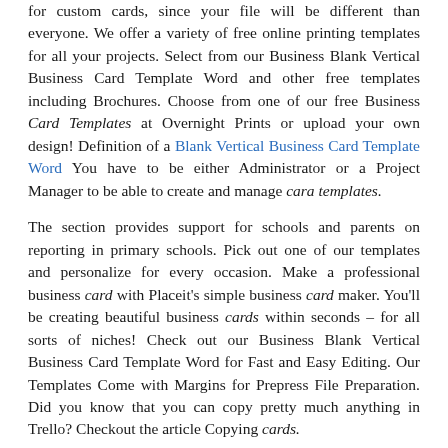for custom cards, since your file will be different than everyone. We offer a variety of free online printing templates for all your projects. Select from our Business Blank Vertical Business Card Template Word and other free templates including Brochures. Choose from one of our free Business Card Templates at Overnight Prints or upload your own design! Definition of a Blank Vertical Business Card Template Word You have to be either Administrator or a Project Manager to be able to create and manage cara templates.
The section provides support for schools and parents on reporting in primary schools. Pick out one of our templates and personalize for every occasion. Make a professional business card with Placeit's simple business card maker. You'll be creating beautiful business cards within seconds – for all sorts of niches! Check out our Business Blank Vertical Business Card Template Word for Fast and Easy Editing. Our Templates Come with Margins for Prepress File Preparation. Did you know that you can copy pretty much anything in Trello? Checkout the article Copying cards.